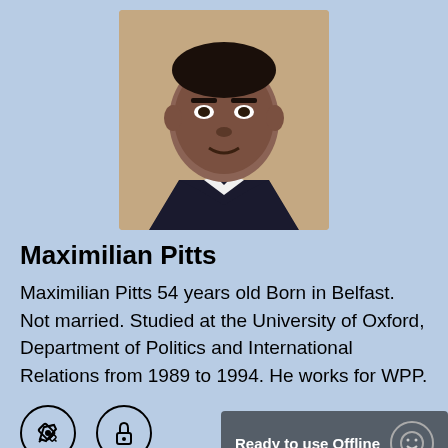[Figure (photo): Portrait photo of Maximilian Pitts, a middle-aged man in a dark suit, against a beige background]
Maximilian Pitts
Maximilian Pitts 54 years old Born in Belfast. Not married. Studied at the University of Oxford, Department of Politics and International Relations from 1989 to 1994. He works for WPP.
[Figure (illustration): Row of icons: a circular icon with a pencil/write symbol, a circular icon with a lock/blogger symbol, and an offline banner saying 'Ready to use Offline' with a smiley face icon]